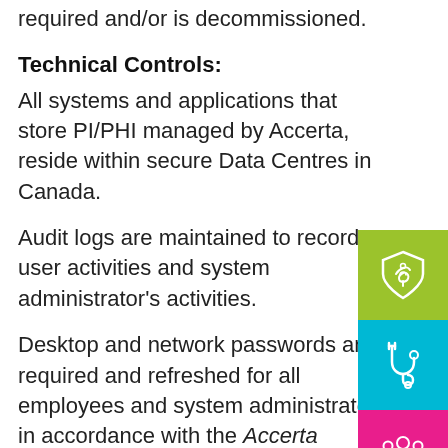required and/or is decommissioned.
Technical Controls:
All systems and applications that store PI/PHI managed by Accerta, reside within secure Data Centres in Canada.
Audit logs are maintained to record user activities and system administrator's activities.
Desktop and network passwords are required and refreshed for all employees and system administrators in accordance with the Accerta Information Security Policy.
[Figure (illustration): Three decorative icon blocks on the right edge: a green shield with plant icon, a cyan stethoscope icon, and a pink group of people icon.]